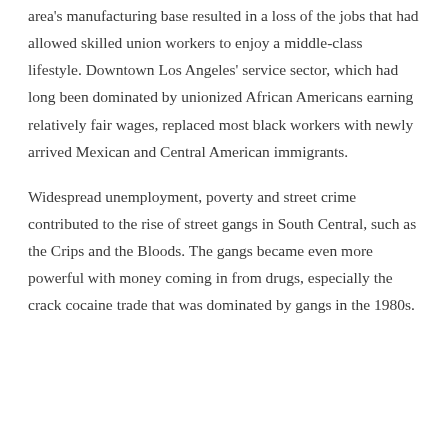area's manufacturing base resulted in a loss of the jobs that had allowed skilled union workers to enjoy a middle-class lifestyle. Downtown Los Angeles' service sector, which had long been dominated by unionized African Americans earning relatively fair wages, replaced most black workers with newly arrived Mexican and Central American immigrants.
Widespread unemployment, poverty and street crime contributed to the rise of street gangs in South Central, such as the Crips and the Bloods. The gangs became even more powerful with money coming in from drugs, especially the crack cocaine trade that was dominated by gangs in the 1980s.